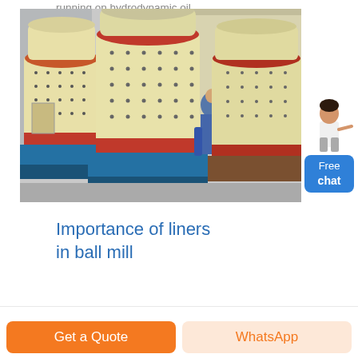running on hydrodynamic oil lubricated bearings. The TITAN design enables you to
[Figure (photo): Industrial cone crushers / ball mill machines in cream/yellow color with red base rings, mounted on blue steel frames, photographed outdoors at a factory or yard. A worker in blue overalls is visible between the machines.]
Importance of liners in ball mill
Get a Quote
WhatsApp